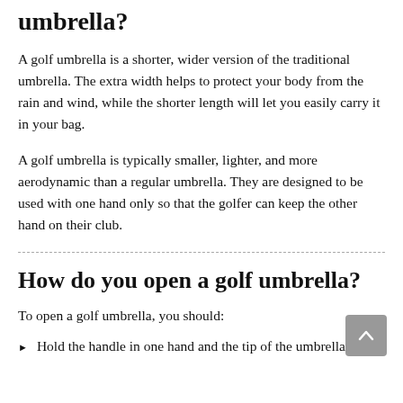umbrella?
A golf umbrella is a shorter, wider version of the traditional umbrella. The extra width helps to protect your body from the rain and wind, while the shorter length will let you easily carry it in your bag.
A golf umbrella is typically smaller, lighter, and more aerodynamic than a regular umbrella. They are designed to be used with one hand only so that the golfer can keep the other hand on their club.
How do you open a golf umbrella?
To open a golf umbrella, you should:
Hold the handle in one hand and the tip of the umbrella in